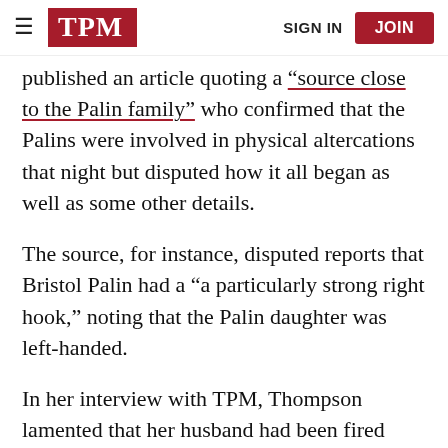TPM | SIGN IN | JOIN
published an article quoting a “source close to the Palin family” who confirmed that the Palins were involved in physical altercations that night but disputed how it all began as well as some other details.
The source, for instance, disputed reports that Bristol Palin had a “a particularly strong right hook,” noting that the Palin daughter was left-handed.
In her interview with TPM, Thompson lamented that her husband had been fired from his job last